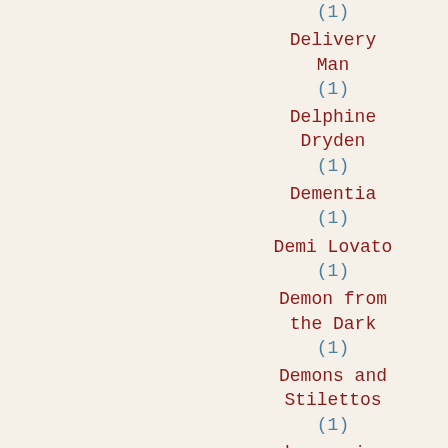(1)
Delivery Man (1)
Delphine Dryden (1)
Dementia (1)
Demi Lovato (1)
Demon from the Dark (1)
Demons and Stilettos (1)
depression (1)